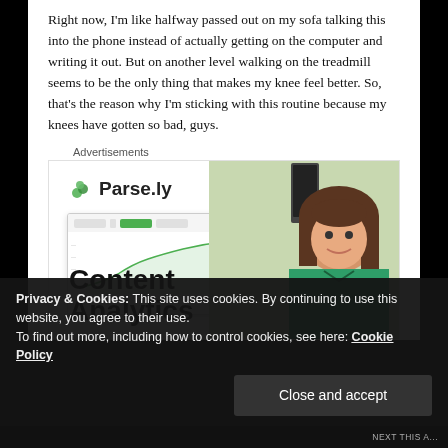Right now, I'm like halfway passed out on my sofa talking this into the phone instead of actually getting on the computer and writing it out. But on another level walking on the treadmill seems to be the only thing that makes my knee feel better. So, that's the reason why I'm sticking with this routine because my knees have gotten so bad, guys.
Advertisements
[Figure (photo): Parse.ly advertisement banner showing 'Content Analytics' text with logo and image of smiling woman in green top with a dashboard screenshot]
Privacy & Cookies: This site uses cookies. By continuing to use this website, you agree to their use.
To find out more, including how to control cookies, see here: Cookie Policy
Close and accept
NEXT THIS A...